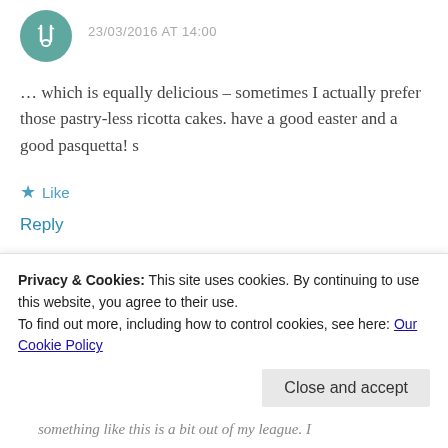23/03/2016 AT 14:00
… which is equally delicious – sometimes I actually prefer those pastry-less ricotta cakes. have a good easter and a good pasquetta! s
★ Like
Reply
Chae John
Privacy & Cookies: This site uses cookies. By continuing to use this website, you agree to their use.
To find out more, including how to control cookies, see here: Our Cookie Policy
Close and accept
something like this is a bit out of my league. I